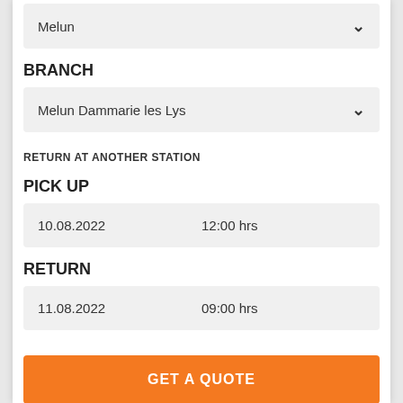Melun
BRANCH
Melun Dammarie les Lys
RETURN AT ANOTHER STATION
PICK UP
10.08.2022   12:00 hrs
RETURN
11.08.2022   09:00 hrs
GET A QUOTE